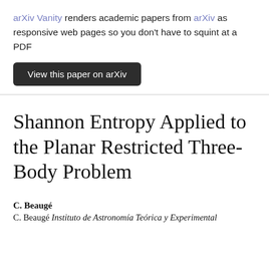arXiv Vanity renders academic papers from arXiv as responsive web pages so you don't have to squint at a PDF
View this paper on arXiv
Shannon Entropy Applied to the Planar Restricted Three-Body Problem
C. Beaugé
C. Beaugé Instituto de Astronomía Teórica y Experimental